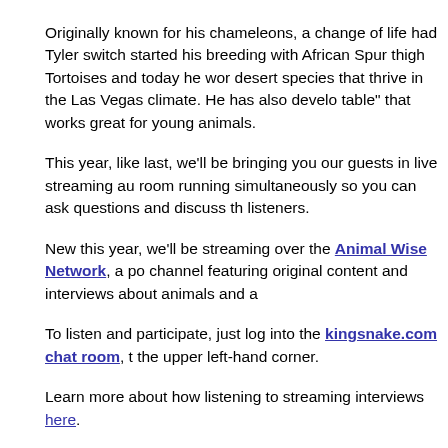Originally known for his chameleons, a change of life had Tyler switch started his breeding with African Spur thigh Tortoises and today he wor desert species that thrive in the Las Vegas climate. He has also develo table" that works great for young animals.
This year, like last, we'll be bringing you our guests in live streaming au room running simultaneously so you can ask questions and discuss th listeners.
New this year, we'll be streaming over the Animal Wise Network, a po channel featuring original content and interviews about animals and a
To listen and participate, just log into the kingsnake.com chat room, t the upper left-hand corner.
Learn more about how listening to streaming interviews here.
[Figure (other): Social sharing icons: Facebook, Twitter, Email, Tumblr]
Comments (0) | Permalink